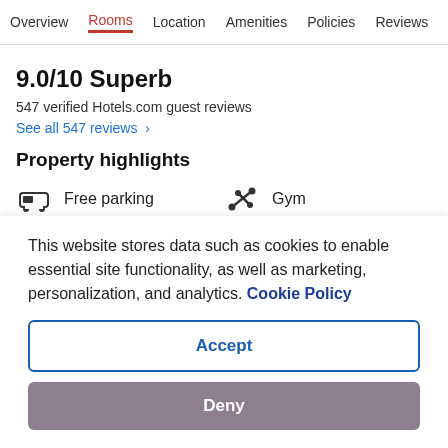Overview | Rooms | Location | Amenities | Policies | Reviews
9.0/10 Superb
547 verified Hotels.com guest reviews
See all 547 reviews  >
Property highlights
Free parking
Gym
Pool
Non-smoking
...
This website stores data such as cookies to enable essential site functionality, as well as marketing, personalization, and analytics. Cookie Policy
Accept
Deny